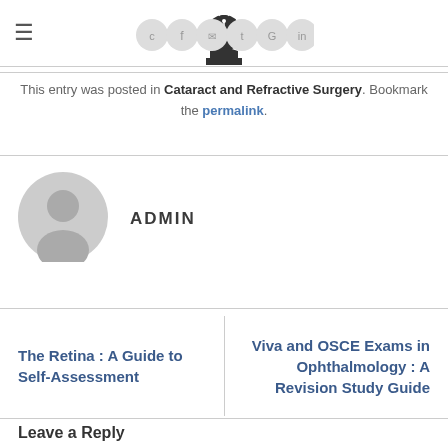ADMIN — Medical website header with logo and social icons
This entry was posted in Cataract and Refractive Surgery. Bookmark the permalink.
[Figure (illustration): Grey circular user avatar/placeholder icon for ADMIN user]
ADMIN
The Retina : A Guide to Self-Assessment
Viva and OSCE Exams in Ophthalmology : A Revision Study Guide
Leave a Reply